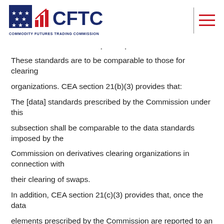CFTC — COMMODITY FUTURES TRADING COMMISSION
These standards are to be comparable to those for clearing organizations. CEA section 21(b)(3) provides that: The [data] standards prescribed by the Commission under this subsection shall be comparable to the data standards imposed by the Commission on derivatives clearing organizations in connection with their clearing of swaps. In addition, CEA section 21(c)(3) provides that, once the data elements prescribed by the Commission are reported to an SDR, the SDR shall: